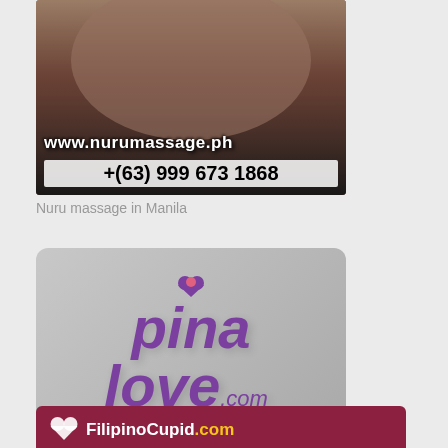[Figure (photo): Advertisement image for nuru massage service showing partial figure with text overlay showing website URL www.nurumassage.ph and phone number +(63) 999 673 1868]
Nuru massage in Manila
[Figure (logo): PinaLove.com logo on grey gradient background - purple italic script text with heart icon]
Free Philippines dating site.
[Figure (logo): FilipinoCupid.com banner advertisement with dark red background, heart logo and text]